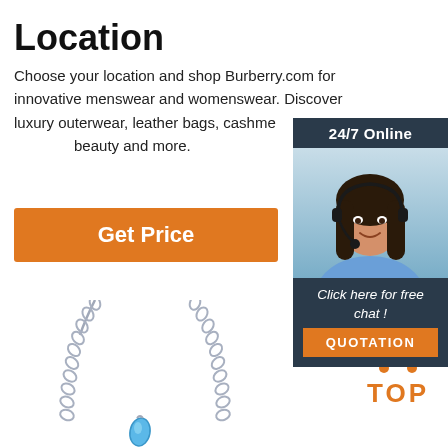Location
Choose your location and shop Burberry.com for innovative menswear and womenswear. Discover luxury outerwear, leather bags, cashmere beauty and more.
Get Price
[Figure (infographic): 24/7 Online chat widget with photo of a woman wearing a headset. Includes 'Click here for free chat !' text and an orange QUOTATION button.]
[Figure (photo): Silver chain necklace with a blue gemstone pendant]
[Figure (other): Orange TOP button with dots forming an upward-pointing triangle above the text TOP]